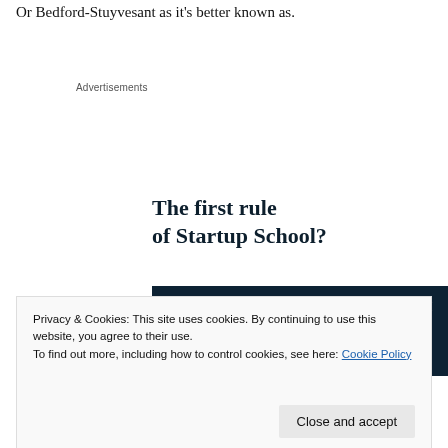Or Bedford-Stuyvesant as it's better known as.
Advertisements
[Figure (infographic): Advertisement banner. Large bold serif text reads 'The first rule of Startup School?' above a dark navy blue box with white bold text reading 'Ask questions.']
Privacy & Cookies: This site uses cookies. By continuing to use this website, you agree to their use.
To find out more, including how to control cookies, see here: Cookie Policy
Close and accept